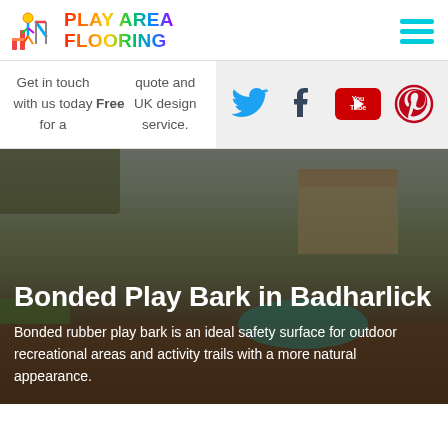[Figure (logo): Play Area Flooring logo with colorful graphic icon and rainbow-gradient text]
Get in touch with us today for a Free quote and UK design service.
[Figure (infographic): Social media icons: Twitter, Tumblr, YouTube, Pinterest in cyan/teal colors on grey background]
[Figure (photo): Outdoor playground with bonded rubber play bark surface, climbing frame, residential building in background]
Bonded Play Bark in Badharlick
Bonded rubber play bark is an ideal safety surface for outdoor recreational areas and activity trails with a more natural appearance.